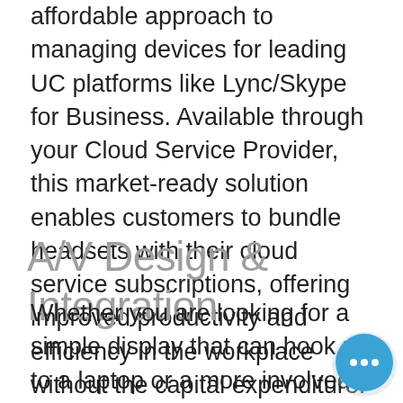affordable approach to managing devices for leading UC platforms like Lync/Skype for Business. Available through your Cloud Service Provider, this market-ready solution enables customers to bundle headsets with their cloud service subscriptions, offering improved productivity and efficiency in the workplace without the capital expenditure.
A/V Design & Integration
Whether you are looking for a simple display that can hook up to a laptop or a more involved system which includes video conferencing, presentation collaboration,
[Figure (illustration): Blue circular chat bubble icon with three dots (ellipsis) inside, positioned in the bottom-right corner of the page]